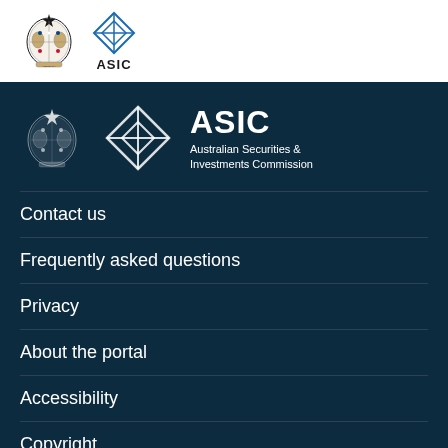[Figure (logo): Australian Government Coat of Arms and ASIC logo in white header bar]
[Figure (logo): Australian Government Coat of Arms, ASIC diamond logo, and ASIC Australian Securities & Investments Commission text on dark navy background]
Contact us
Frequently asked questions
Privacy
About the portal
Accessibility
Copyright
Information publication scheme